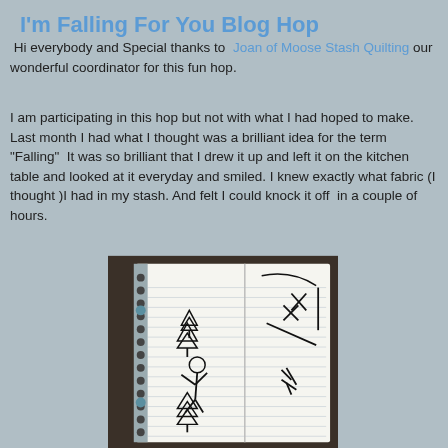I'm Falling For You Blog Hop
Hi everybody and Special thanks to Joan of Moose Stash Quilting our wonderful coordinator for this fun hop.
I am participating in this hop but not with what I had hoped to make.  Last month I had what I thought was a brilliant idea for the term "Falling"  It was so brilliant that I drew it up and left it on the kitchen table and looked at it everyday and smiled. I knew exactly what fabric (I thought )I had in my stash. And felt I could knock it off  in a couple of hours.
[Figure (photo): A spiral notebook open on a dark surface, showing hand-drawn sketches that appear to be quilt pattern ideas, including stick figures, triangles (representing trees), circles, and geometric shapes drawn in black ink on lined paper.]